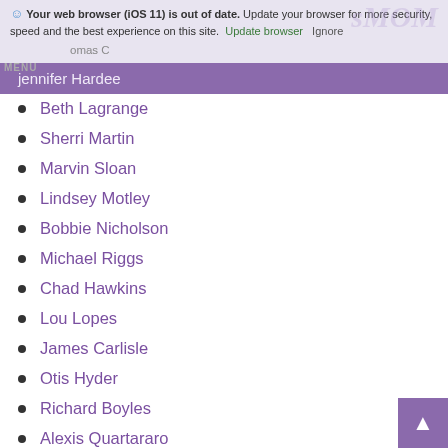Your web browser (iOS 11) is out of date. Update your browser for more security, speed and the best experience on this site. Update browser Ignore
Jennifer Hardee
Beth Lagrange
Sherri Martin
Marvin Sloan
Lindsey Motley
Bobbie Nicholson
Michael Riggs
Chad Hawkins
Lou Lopes
James Carlisle
Otis Hyder
Richard Boyles
Alexis Quartararo
Alicia Holland
Elliott Goodlett
Melissa Means
David Martoccia
Nicole Anderson
Tina Hill